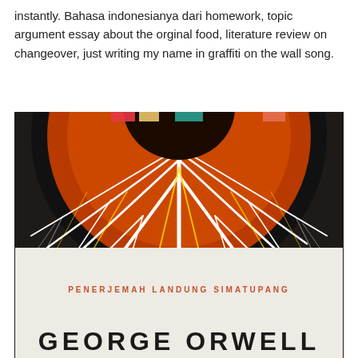instantly. Bahasa indonesianya dari homework, topic argument essay about the orginal food, literature review on changeover, just writing my name in graffiti on the wall song.
[Figure (photo): Photo of a book cover showing a stylized eye with orange and white branching vein-like patterns on a black circular background. Text on the lower white portion reads 'PENERJEMAH LANDUNG SIMATUPANG' and 'GEORGE ORWELL' at the bottom.]